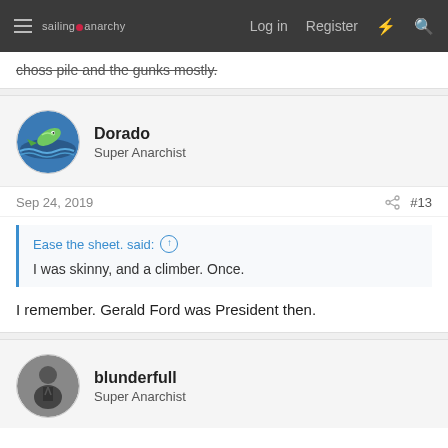sailing anarchy — Log in  Register
choss pile and the gunks mostly.
Dorado
Super Anarchist
Sep 24, 2019  #13
Ease the sheet. said: ↑
I was skinny, and a climber. Once.
I remember. Gerald Ford was President then.
blunderfull
Super Anarchist